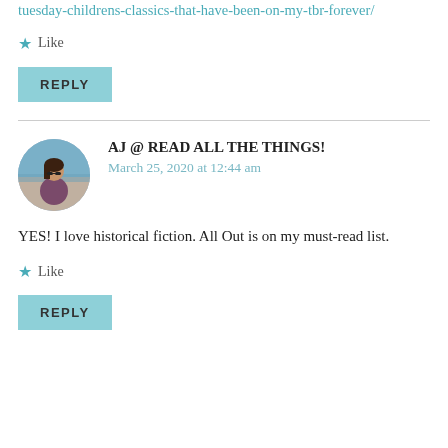tuesday-childrens-classics-that-have-been-on-my-tbr-forever/
Like
REPLY
AJ @ READ ALL THE THINGS!
March 25, 2020 at 12:44 am
YES! I love historical fiction. All Out is on my must-read list.
Like
REPLY